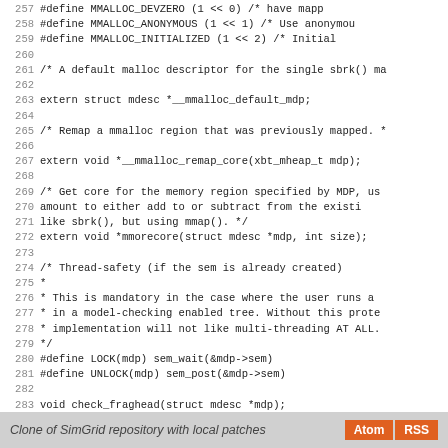Source code listing lines 257-285 of mmalloc private header
Clone of SimGrid repository with local patches  Atom  RSS